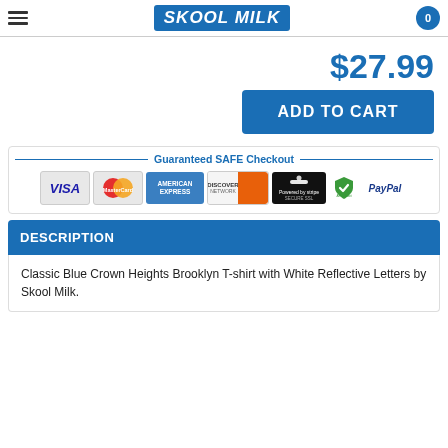SKOOL MILK
$27.99
ADD TO CART
[Figure (infographic): Guaranteed SAFE Checkout banner with payment icons: Visa, MasterCard, American Express, Discover Network, Powered by Stripe, shield checkmark, PayPal]
DESCRIPTION
Classic Blue Crown Heights Brooklyn T-shirt with White Reflective Letters by Skool Milk.